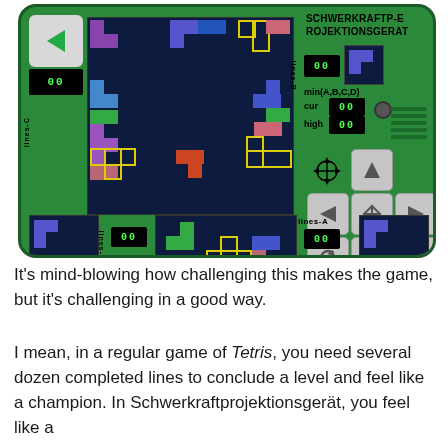[Figure (screenshot): Screenshot of Schwerkraftprojektionsgerät game — a multi-screen Tetris variant displayed on a green handheld device with control buttons. Shows multiple dark blue play fields with colorful Tetris pieces, score displays showing '00', labels reading 'lines-B', 'lines-A', 'lines-D', 'lines-C', 'min(A,B,C,D)', 'cur', 'high', and directional/rotation control buttons.]
It's mind-blowing how challenging this makes the game, but it's challenging in a good way.
I mean, in a regular game of Tetris, you need several dozen completed lines to conclude a level and feel like a champion. In Schwerkraftprojektionsgerät, you feel like a